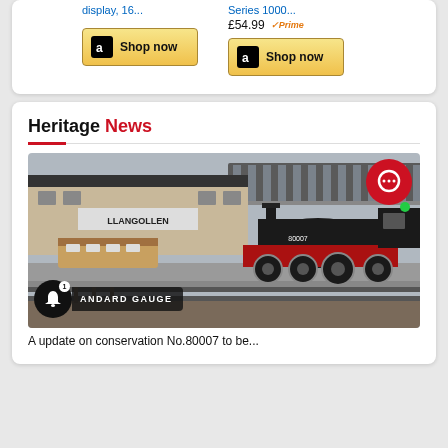[Figure (screenshot): Amazon product links showing 'display, 16...' and 'Series 1000...' with £54.99 Prime price and two Shop now buttons]
Heritage News
[Figure (photo): Heritage railway station photo showing a steam locomotive (red and black) at Llangollen station platform, with a badge overlay reading 'ANDARD GAUGE' and a bell notification icon]
...details about No.80007 to be...